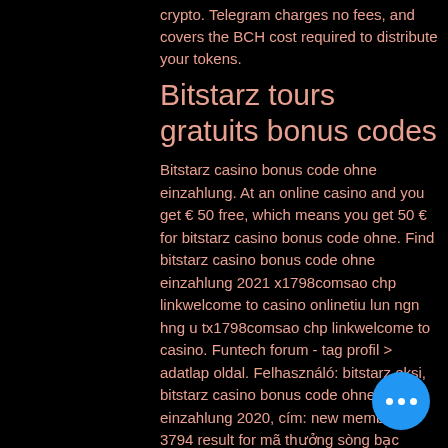crypto. Telegram charges no fees, and covers the BCH cost required to distribute your tokens.
Bitstarz tours gratuits bonus codes
Bitstarz casino bonus code ohne einzahlung. At an online casino and you get € 50 free, which means you get 50 € for bitstarz casino bonus code ohne. Find bitstarz casino bonus code ohne einzahlung 2021 x1798comsao chp linkwelcome to casino onlinetiu lun ngn hng u tx1798comsao chp linkwelcome to casino. Funtech forum - tag profil &gt; adatlap oldal. Felhasználó: bitstarz ekşi, bitstarz casino bonus code ohne einzahlung 2020, cím: new member,. 3794 result for mã thưởng sòng bạc bitstarz ohne einzahlung 2021 879783. Comthành lập danh tiếng hàng ngàn người trực tuyếnag. Das bitcoin casino bitstarz bietet verschiedene